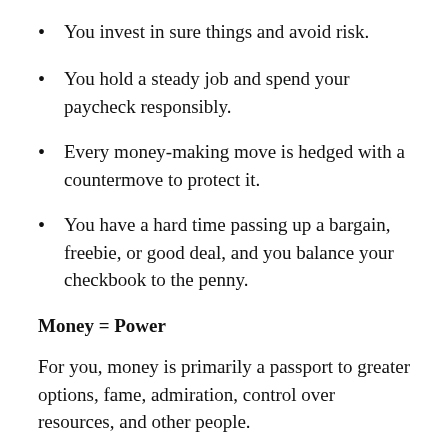You invest in sure things and avoid risk.
You hold a steady job and spend your paycheck responsibly.
Every money-making move is hedged with a countermove to protect it.
You have a hard time passing up a bargain, freebie, or good deal, and you balance your checkbook to the penny.
Money = Power
For you, money is primarily a passport to greater options, fame, admiration, control over resources, and other people.
Characteristics: